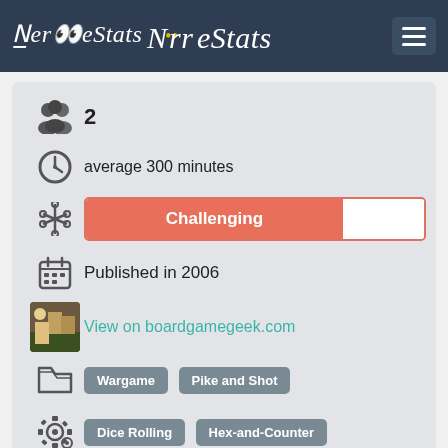NerreStats
2
average 300 minutes
Challenging
Published in 2006
View on boardgamegeek.com
Wargame  Pike and Shot
Dice Rolling  Hex-and-Counter
Part of Ben Hull's award-winning Musket & Pike Battles series. The